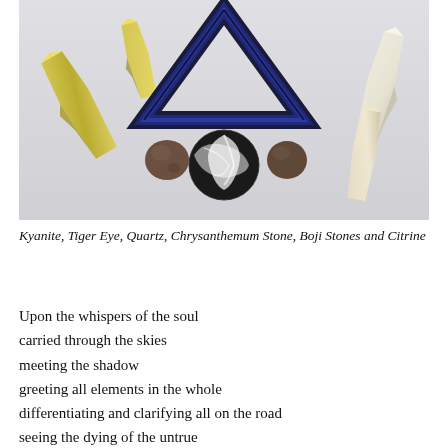[Figure (photo): A flat-lay photo of several crystals and stones on a white/light grey background: yellow-green kyanite crystals, a dark blue triangular kyanite frame, clear quartz points, a swirled black-and-white chrysanthemum stone, two small rough boji stones, and a pale citrine point.]
Kyanite, Tiger Eye, Quartz, Chrysanthemum Stone, Boji Stones and Citrine
Upon the whispers of the soul
carried through the skies
meeting the shadow
greeting all elements in the whole
differentiating and clarifying all on the road
seeing the dying of the untrue
welcoming the wings to fly off with
taking only with us that which is of value